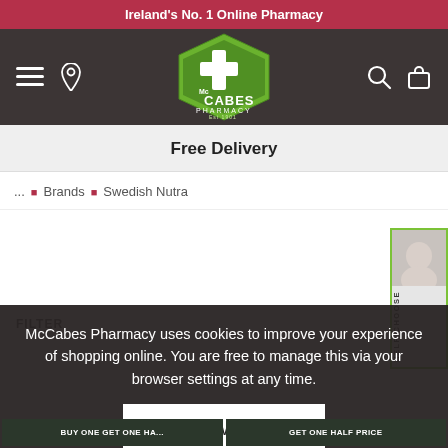Ireland's No. 1 Online Pharmacy
[Figure (logo): McCabes Pharmacy logo - green hexagon with white cross and text McCabes Pharmacy Est 1901]
Free Delivery
... ■ Brands ■ Swedish Nutra
McCabes Pharmacy uses cookies to improve your experience of shopping online. You are free to manage this via your browser settings at any time.
Allow all
FILTER
BUY ONE GET ONE HA...
GET ONE HALF PRICE